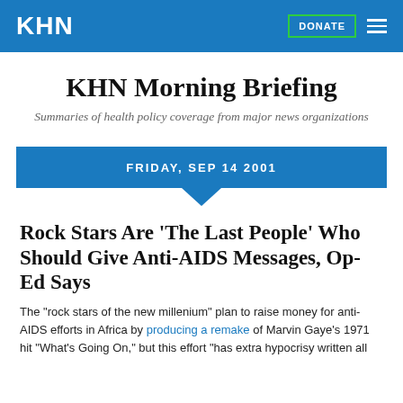KHN
KHN Morning Briefing
Summaries of health policy coverage from major news organizations
FRIDAY, SEP 14 2001
Rock Stars Are ‘The Last People’ Who Should Give Anti-AIDS Messages, Op-Ed Says
The "rock stars of the new millenium" plan to raise money for anti-AIDS efforts in Africa by producing a remake of Marvin Gaye's 1971 hit "What's Going On," but this effort "has extra hypocrisy written all